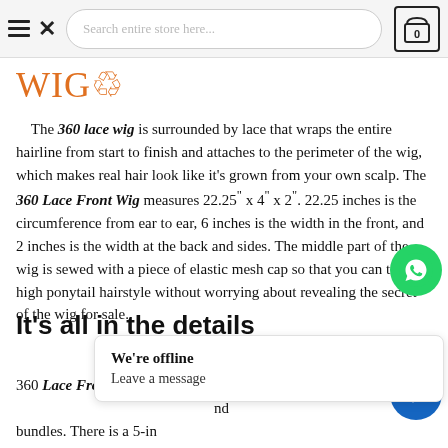Search entire store here...   0
WIG♲
The 360 lace wig is surrounded by lace that wraps the entire hairline from start to finish and attaches to the perimeter of the wig, which makes real hair look like it's grown from your own scalp. The 360 Lace Front Wig measures 22.25" x 4" x 2". 22.25 inches is the circumference from ear to ear, 6 inches is the width in the front, and 2 inches is the width at the back and sides. The middle part of the wig is sewed with a piece of elastic mesh cap so that you can tie a high ponytail hairstyle without worrying about revealing the secret of the wig for sale.
It's all in the details
360 Lace Front Wigs is p...nd bundles. There is a 5-in...2 in the back. You can easily achieve deep parting, high ponytail, or up-